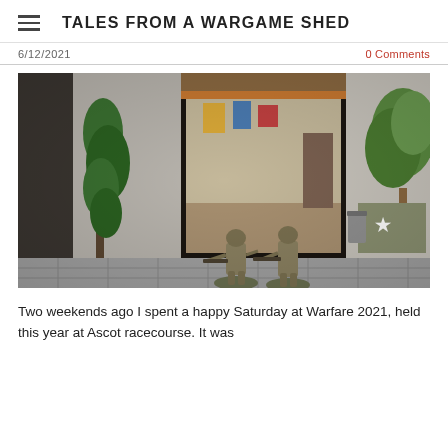TALES FROM A WARGAME SHED
6/12/2021
0 Comments
[Figure (photo): Wargame miniatures scene: two painted WWII soldiers on a cobblestone base in front of a model building with open doorway showing interior. A model tree with green foliage is on the left. A model tree is visible on the right. A military vehicle with a star marking is partially visible on the right. The scene is shot with shallow depth of field.]
Two weekends ago I spent a happy Saturday at Warfare 2021, held this year at Ascot racecourse. It was